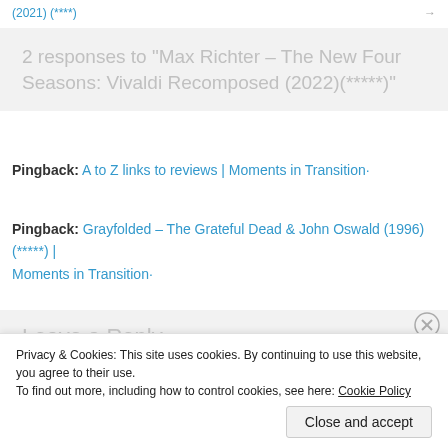(2021) (****)
2 responses to “Max Richter – The New Four Seasons: Vivaldi Recomposed (2022)(*****)”
Pingback: A to Z links to reviews | Moments in Transition·
Pingback: Grayfolded – The Grateful Dead & John Oswald (1996) (*****) | Moments in Transition·
Leave a Reply
Privacy & Cookies: This site uses cookies. By continuing to use this website, you agree to their use.
To find out more, including how to control cookies, see here: Cookie Policy
Close and accept